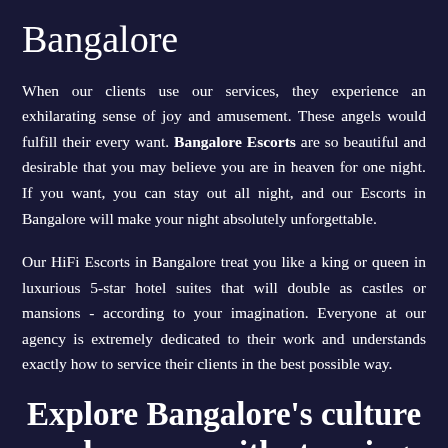Bangalore
When our clients use our services, they experience an exhilarating sense of joy and amusement. These angels would fulfill their every want. Bangalore Escorts are so beautiful and desirable that you may believe you are in heaven for one night. If you want, you can stay out all night, and our Escorts in Bangalore will make your night absolutely unforgettable.
Our HiFi Escorts in Bangalore treat you like a king or queen in luxurious 5-star hotel suites that will double as castles or mansions - according to your imagination. Everyone at our agency is extremely dedicated to their work and understands exactly how to service their clients in the best possible way.
Explore Bangalore's culture and scenery with stunning independent call girls while